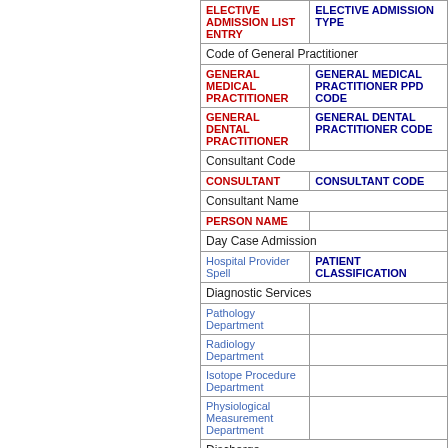| ELECTIVE ADMISSION LIST ENTRY | ELECTIVE ADMISSION TYPE |
| Code of General Practitioner |  |
| GENERAL MEDICAL PRACTITIONER | GENERAL MEDICAL PRACTITIONER PPD CODE |
| GENERAL DENTAL PRACTITIONER | GENERAL DENTAL PRACTITIONER CODE |
| Consultant Code |  |
| CONSULTANT | CONSULTANT CODE |
| Consultant Name |  |
| PERSON NAME |  |
| Day Case Admission |  |
| Hospital Provider Spell | PATIENT CLASSIFICATION |
| Diagnostic Services |  |
| Pathology Department |  |
| Radiology Department |  |
| Isotope Procedure Department |  |
| Physiological Measurement Department |  |
| Discharge |  |
| Hospital Provider Spell | ACTIVITY DATE of the ACTIVITY DATE TIME TYPE Discharge Date |